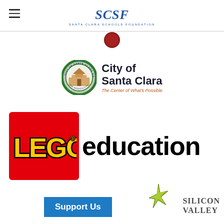[Figure (logo): Santa Clara Schools Foundation (SCSF) logo with hamburger menu icon on left, SCSF text in blue italic serif with 'Santa Clara Schools Foundation' subtitle below]
[Figure (logo): Partial circular red/dark emblem peeking below the header bar]
[Figure (logo): City of Santa Clara logo: circular seal on left, 'City of Santa Clara' bold text, tagline 'The Center of What's Possible' in orange-brown italic]
[Figure (logo): LEGO Education logo: red square with yellow LEGO lettering and registered trademark, followed by 'education' in large black bold text]
[Figure (logo): Bottom section: blue 'Support Us' button, silicon valley text on right with star/sparkle graphic]